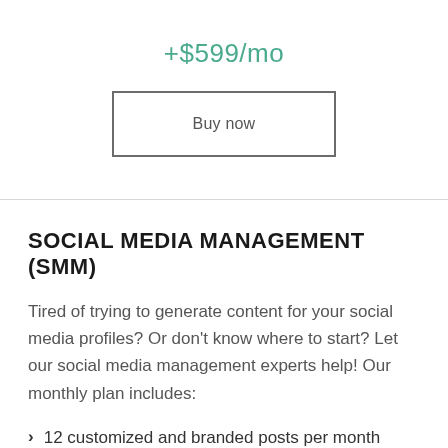+$599/mo
Buy now
SOCIAL MEDIA MANAGEMENT (SMM)
Tired of trying to generate content for your social media profiles? Or don't know where to start? Let our social media management experts help! Our monthly plan includes:
12 customized and branded posts per month